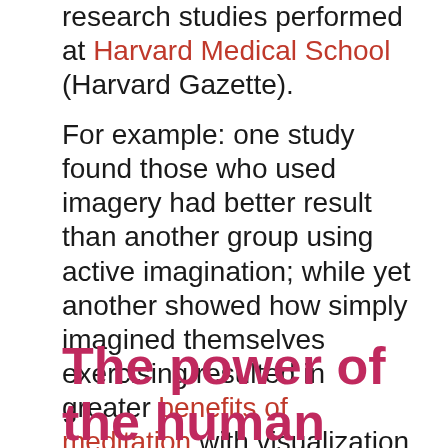research studies performed at Harvard Medical School (Harvard Gazette).
For example: one study found those who used imagery had better result than another group using active imagination; while yet another showed how simply imagined themselves exercising resulted in greater benefits of meditation with visualization.
The power of the human mind